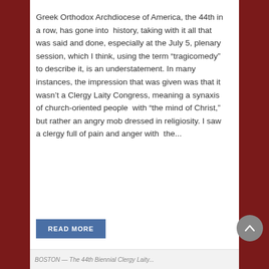Greek Orthodox Archdiocese of America, the 44th in a row, has gone into history, taking with it all that was said and done, especially at the July 5, plenary session, which I think, using the term "tragicomedy" to describe it, is an understatement. In many instances, the impression that was given was that it wasn't a Clergy Laity Congress, meaning a synaxis of church-oriented people with "the mind of Christ," but rather an angry mob dressed in religiosity. I saw a clergy full of pain and anger with the...
READ MORE
BOSTON — The 44th Biennial Clergy Laity...